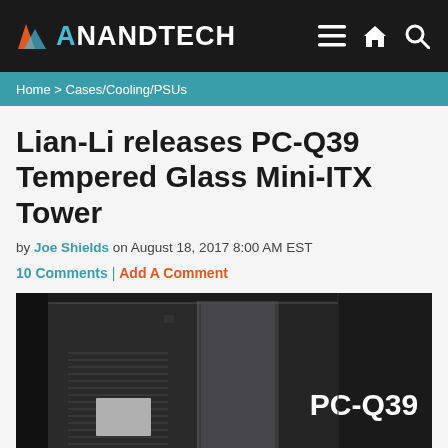AnandTech
Home > Cases/Cooling/PSUs
Lian-Li releases PC-Q39 Tempered Glass Mini-ITX Tower
by Joe Shields on August 18, 2017 8:00 AM EST
10 Comments | Add A Comment
[Figure (photo): Lian-Li PC-Q39 mini-ITX tower case with tempered glass side panel, black aluminum chassis shown from a front-left angle. The text PC-Q39 appears in white on the dark right side.]